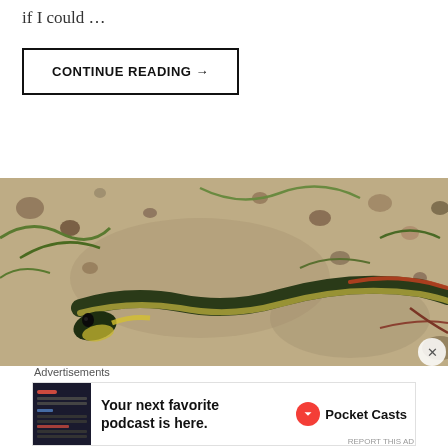if I could …
CONTINUE READING →
[Figure (photo): Close-up photograph of a small snake with dark green/black coloring and yellow underside, resting on sandy ground with pebbles and green vegetation.]
Advertisements
[Figure (other): Advertisement banner for Pocket Casts podcast app. Text reads: 'Your next favorite podcast is here.' with Pocket Casts logo.]